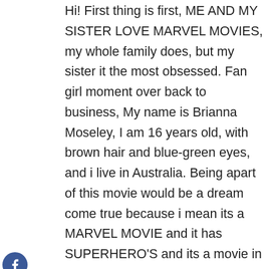Hi! First thing is first, ME AND MY SISTER LOVE MARVEL MOVIES, my whole family does, but my sister it the most obsessed. Fan girl moment over back to business, My name is Brianna Moseley, I am 16 years old, with brown hair and blue-green eyes, and i live in Australia. Being apart of this movie would be a dream come true because i mean its a MARVEL MOVIE and it has SUPERHERO'S and its a movie in general, and I'm an aspiring actress so this would help launch my career. The only experience I have is very minor stuff, i.e drama
[Figure (infographic): Social media sharing sidebar with Facebook, Twitter, WhatsApp, Email buttons and a back arrow]